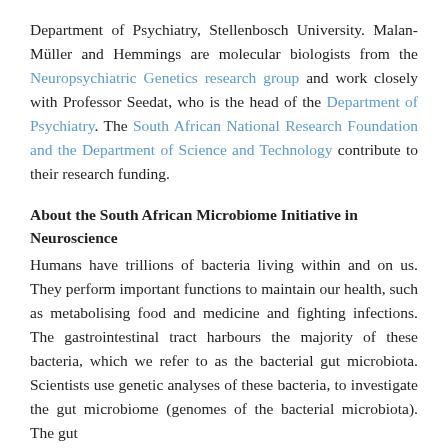Department of Psychiatry, Stellenbosch University. Malan-Müller and Hemmings are molecular biologists from the Neuropsychiatric Genetics research group and work closely with Professor Seedat, who is the head of the Department of Psychiatry. The South African National Research Foundation and the Department of Science and Technology contribute to their research funding.
About the South African Microbiome Initiative in Neuroscience
Humans have trillions of bacteria living within and on us. They perform important functions to maintain our health, such as metabolising food and medicine and fighting infections. The gastrointestinal tract harbours the majority of these bacteria, which we refer to as the bacterial gut microbiota. Scientists use genetic analyses of these bacteria, to investigate the gut microbiome (genomes of the bacterial microbiota). The gut